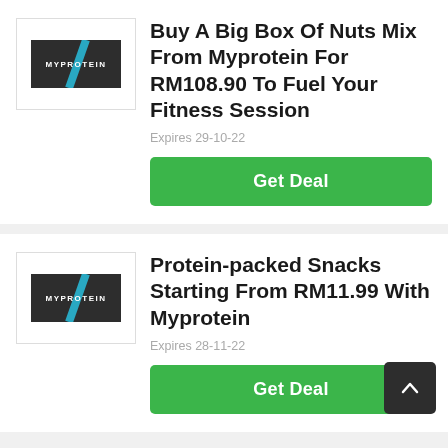[Figure (logo): Myprotein logo with dark background and cyan slash]
Buy A Big Box Of Nuts Mix From Myprotein For RM108.90 To Fuel Your Fitness Session
Expires 29-10-22
Get Deal
[Figure (logo): Myprotein logo with dark background and cyan slash]
Protein-packed Snacks Starting From RM11.99 With Myprotein
Expires 28-11-22
Get Deal